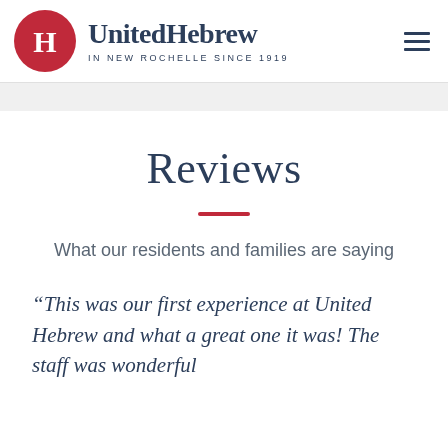[Figure (logo): United Hebrew logo: red circle with white H letter, beside text 'UnitedHebrew' and tagline 'IN NEW ROCHELLE SINCE 1919']
Reviews
What our residents and families are saying
“This was our first experience at United Hebrew and what a great one it was! The staff was wonderful